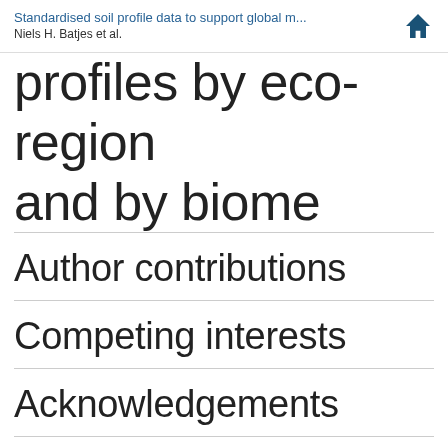Standardised soil profile data to support global m...
Niels H. Batjes et al.
profiles by eco-region and by biome
Author contributions
Competing interests
Acknowledgements